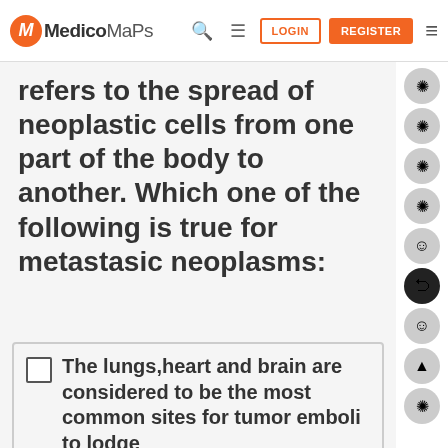MedicoMaps — LOGIN | REGISTER
refers to the spread of neoplastic cells from one part of the body to another. Which one of the following is true for metastasic neoplasms:
The lungs,heart and brain are considered to be the most common sites for tumor emboli to lodge